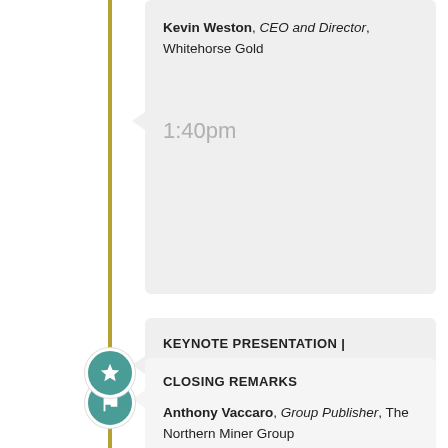Kevin Weston, CEO and Director, Whitehorse Gold
1:40pm
KEYNOTE PRESENTATION |
Peter Marrone, Executive Chairman, Yamana Gold Inc.
1:55pm
CLOSING REMARKS
Anthony Vaccaro, Group Publisher, The Northern Miner Group